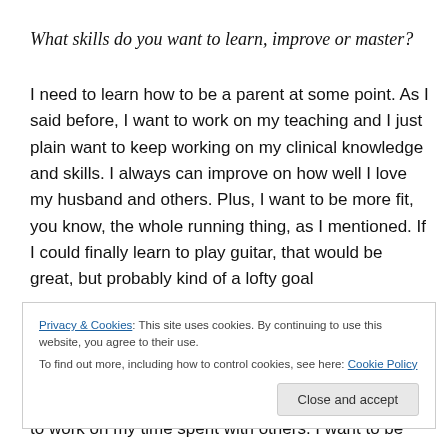What skills do you want to learn, improve or master?
I need to learn how to be a parent at some point. As I said before, I want to work on my teaching and I just plain want to keep working on my clinical knowledge and skills. I always can improve on how well I love my husband and others. Plus, I want to be more fit, you know, the whole running thing, as I mentioned. If I could finally learn to play guitar, that would be great, but probably kind of a lofty goal
Privacy & Cookies: This site uses cookies. By continuing to use this website, you agree to their use.
To find out more, including how to control cookies, see here: Cookie Policy
to work on my time spent with others. I want to be more